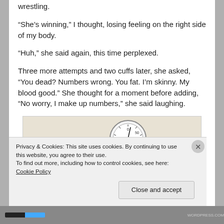wrestling.
“She’s winning,” I thought, losing feeling on the right side of my body.
“Huh,” she said again, this time perplexed.
Three more attempts and two cuffs later, she asked, “You dead? Numbers wrong. You fat. I’m skinny. My blood good.” She thought for a moment before adding, “No worry, I make up numbers,” she said laughing.
[Figure (photo): A blood pressure gauge/sphygmomanometer dial on a beige/tan surface, showing the circular dial with numbers]
Privacy & Cookies: This site uses cookies. By continuing to use this website, you agree to their use.
To find out more, including how to control cookies, see here: Cookie Policy
Close and accept